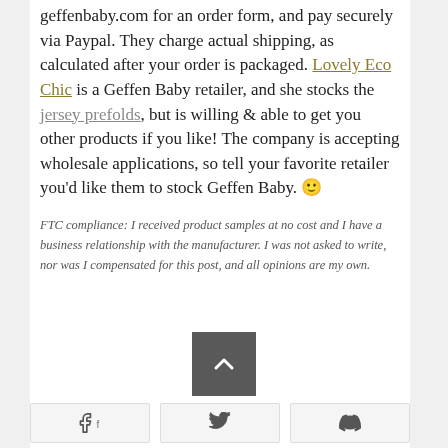geffenbaby.com for an order form, and pay securely via Paypal. They charge actual shipping, as calculated after your order is packaged. Lovely Eco Chic is a Geffen Baby retailer, and she stocks the jersey prefolds, but is willing & able to get you other products if you like! The company is accepting wholesale applications, so tell your favorite retailer you'd like them to stock Geffen Baby. 🙂
FTC compliance: I received product samples at no cost and I have a business relationship with the manufacturer. I was not asked to write, nor was I compensated for this post, and all opinions are my own.